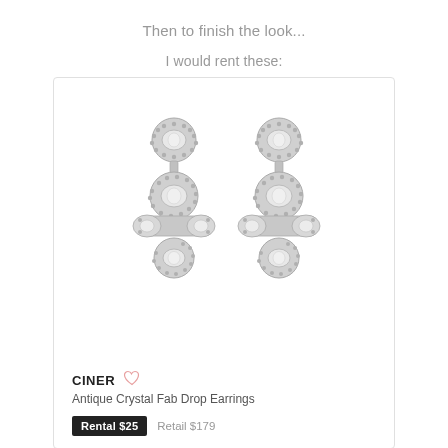Then to finish the look...
I would rent these:
[Figure (photo): Product photo of a pair of ornate crystal chandelier drop earrings by CINER, featuring multiple oval crystal clusters set in silver-tone metal with pavé detailing.]
CINER
Antique Crystal Fab Drop Earrings
Rental $25   Retail $179